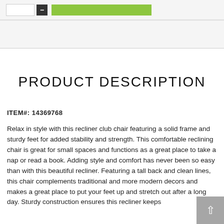PRODUCT DESCRIPTION
ITEM#: 14369768
Relax in style with this recliner club chair featuring a solid frame and sturdy feet for added stability and strength. This comfortable reclining chair is great for small spaces and functions as a great place to take a nap or read a book. Adding style and comfort has never been so easy than with this beautiful recliner. Featuring a tall back and clean lines, this chair complements traditional and more modern decors and makes a great place to put your feet up and stretch out after a long day. Sturdy construction ensures this recliner keeps